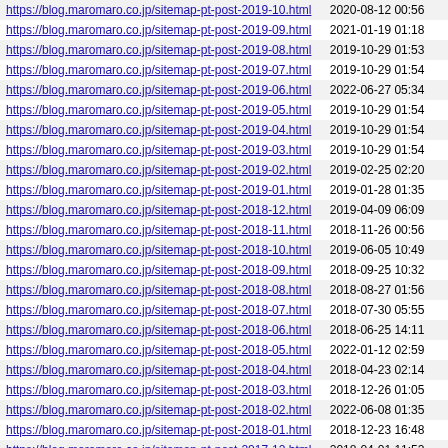| https://blog.maromaro.co.jp/sitemap-pt-post-2019-10.html | 2020-08-12 00:56 |
| https://blog.maromaro.co.jp/sitemap-pt-post-2019-09.html | 2021-01-19 01:18 |
| https://blog.maromaro.co.jp/sitemap-pt-post-2019-08.html | 2019-10-29 01:53 |
| https://blog.maromaro.co.jp/sitemap-pt-post-2019-07.html | 2019-10-29 01:54 |
| https://blog.maromaro.co.jp/sitemap-pt-post-2019-06.html | 2022-06-27 05:34 |
| https://blog.maromaro.co.jp/sitemap-pt-post-2019-05.html | 2019-10-29 01:54 |
| https://blog.maromaro.co.jp/sitemap-pt-post-2019-04.html | 2019-10-29 01:54 |
| https://blog.maromaro.co.jp/sitemap-pt-post-2019-03.html | 2019-10-29 01:54 |
| https://blog.maromaro.co.jp/sitemap-pt-post-2019-02.html | 2019-02-25 02:20 |
| https://blog.maromaro.co.jp/sitemap-pt-post-2019-01.html | 2019-01-28 01:35 |
| https://blog.maromaro.co.jp/sitemap-pt-post-2018-12.html | 2019-04-09 06:09 |
| https://blog.maromaro.co.jp/sitemap-pt-post-2018-11.html | 2018-11-26 00:56 |
| https://blog.maromaro.co.jp/sitemap-pt-post-2018-10.html | 2019-06-05 10:49 |
| https://blog.maromaro.co.jp/sitemap-pt-post-2018-09.html | 2018-09-25 10:32 |
| https://blog.maromaro.co.jp/sitemap-pt-post-2018-08.html | 2018-08-27 01:56 |
| https://blog.maromaro.co.jp/sitemap-pt-post-2018-07.html | 2018-07-30 05:55 |
| https://blog.maromaro.co.jp/sitemap-pt-post-2018-06.html | 2018-06-25 14:11 |
| https://blog.maromaro.co.jp/sitemap-pt-post-2018-05.html | 2022-01-12 02:59 |
| https://blog.maromaro.co.jp/sitemap-pt-post-2018-04.html | 2018-04-23 02:14 |
| https://blog.maromaro.co.jp/sitemap-pt-post-2018-03.html | 2018-12-26 01:05 |
| https://blog.maromaro.co.jp/sitemap-pt-post-2018-02.html | 2022-06-08 01:35 |
| https://blog.maromaro.co.jp/sitemap-pt-post-2018-01.html | 2018-12-23 16:48 |
| https://blog.maromaro.co.jp/sitemap-pt-post-2017-12.html | 2018-04-01 11:52 |
| https://blog.maromaro.co.jp/sitemap-pt-post-2017-11.html | 2018-03-15 13:01 |
| https://blog.maromaro.co.jp/sitemap-pt-post-2017-10.html | 2018-03-15 13:01 |
| https://blog.maromaro.co.jp/sitemap-pt-post-2017-09.html | 2018-03-15 13:01 |
| https://blog.maromaro.co.jp/sitemap-pt-post-2017-08.html | 2020-08-06 01:28 |
| https://blog.maromaro.co.jp/sitemap-pt-post-2017-07.html | 2018-11-07 02:00 |